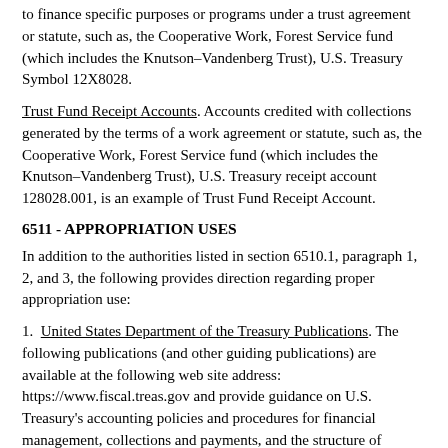to finance specific purposes or programs under a trust agreement or statute, such as, the Cooperative Work, Forest Service fund (which includes the Knutson–Vandenberg Trust), U.S. Treasury Symbol 12X8028.
Trust Fund Receipt Accounts. Accounts credited with collections generated by the terms of a work agreement or statute, such as, the Cooperative Work, Forest Service fund (which includes the Knutson–Vandenberg Trust), U.S. Treasury receipt account 128028.001, is an example of Trust Fund Receipt Account.
6511 - APPROPRIATION USES
In addition to the authorities listed in section 6510.1, paragraph 1, 2, and 3, the following provides direction regarding proper appropriation use:
1. United States Department of the Treasury Publications. The following publications (and other guiding publications) are available at the following web site address: https://www.fiscal.treas.gov and provide guidance on U.S. Treasury's accounting policies and procedures for financial management, collections and payments, and the structure of Treasury–level accounts:
a. Treasury Financial Manual, Volume I, Ch. 1500.